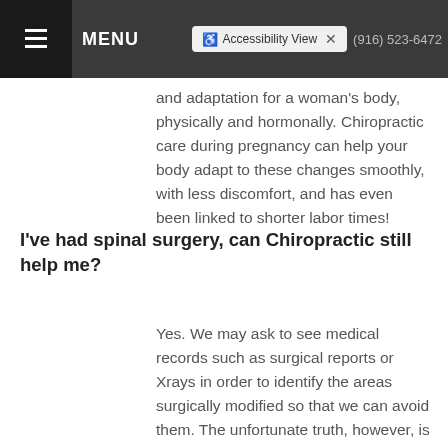MENU | Accessibility View | (916) 523-6472
and adaptation for a woman's body, physically and hormonally. Chiropractic care during pregnancy can help your body adapt to these changes smoothly, with less discomfort, and has even been linked to shorter labor times!
I've had spinal surgery, can Chiropractic still help me?
Yes. We may ask to see medical records such as surgical reports or Xrays in order to identify the areas surgically modified so that we can avoid them. The unfortunate truth, however, is that areas above and below the involved region tend to degenerate faster as a result of the additional strain they undergo, and chiropractic can be extremely beneficial in